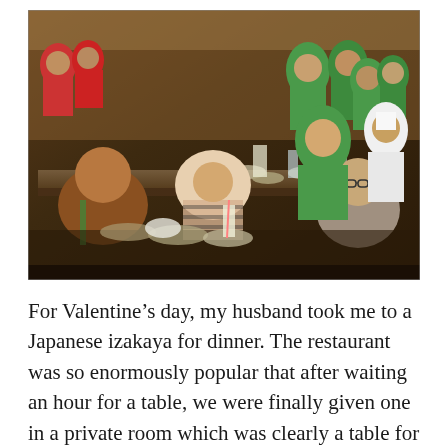[Figure (photo): A crowded restaurant scene with many people seated at long tables eating. Staff wearing bright green polo shirts are visible standing and moving between tables. The scene appears to be a busy Asian restaurant or food hall with lots of food and drinks on the tables.]
For Valentine's day, my husband took me to a Japanese izakaya for dinner. The restaurant was so enormously popular that after waiting an hour for a table, we were finally given one in a private room which was clearly a table for 4